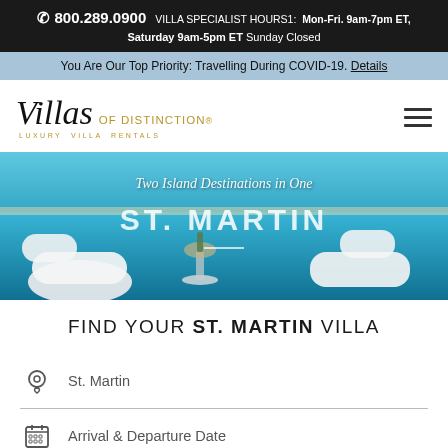📞 800.289.0900  VILLA SPECIALIST HOURS1:  Mon-Fri. 9am-7pm ET, Saturday 9am-5pm ET Sunday Closed
You Are Our Top Priority: Travelling During COVID-19. Details
[Figure (logo): Villas of Distinction Luxury Villa Rentals logo with italic script and serif text]
[Figure (photo): Hero image of a pool area in St. Martin with white modern lounge chairs and champagne bucket on a table, overlaid with text 'Two Island Destinations in One' and 'ST. MARTIN']
FIND YOUR ST. MARTIN VILLA
St. Martin
Arrival & Departure Date